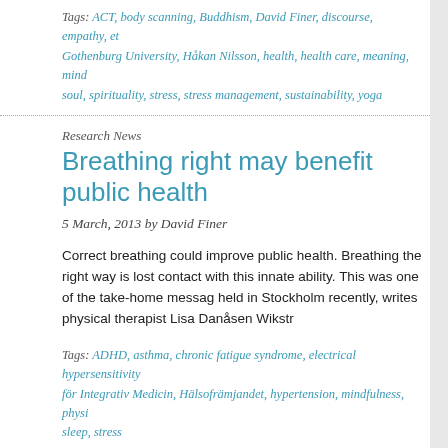Tags: ACT, body scanning, Buddhism, David Finer, discourse, empathy, et Gothenburg University, Håkan Nilsson, health, health care, meaning, mind soul, spirituality, stress, stress management, sustainability, yoga
Research News
Breathing right may benefit public health
5 March, 2013 by David Finer
Correct breathing could improve public health. Breathing the right way is lost contact with this innate ability. This was one of the take-home messag held in Stockholm recently, writes physical therapist Lisa Danåsen Wikstr
Tags: ADHD, asthma, chronic fatigue syndrome, electrical hypersensitivity för Integrativ Medicin, Hälsofrämjandet, hypertension, mindfulness, physi sleep, stress